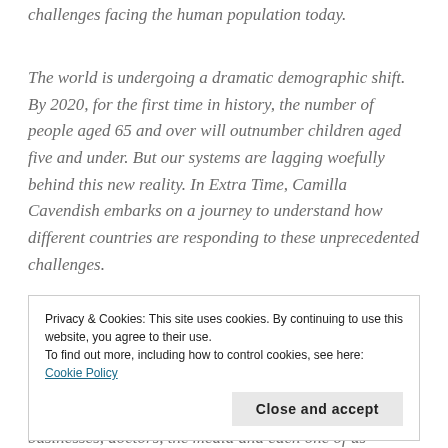challenges facing the human population today.
The world is undergoing a dramatic demographic shift. By 2020, for the first time in history, the number of people aged 65 and over will outnumber children aged five and under. But our systems are lagging woefully behind this new reality. In Extra Time, Camilla Cavendish embarks on a journey to understand how different countries are responding to these unprecedented challenges.
Travelling across the world in a carefully researched and deeply human investigation, Cavendish contests
Privacy & Cookies: This site uses cookies. By continuing to use this website, you agree to their use.
To find out more, including how to control cookies, see here: Cookie Policy
Close and accept
businesses, doctors, the media and each one of us